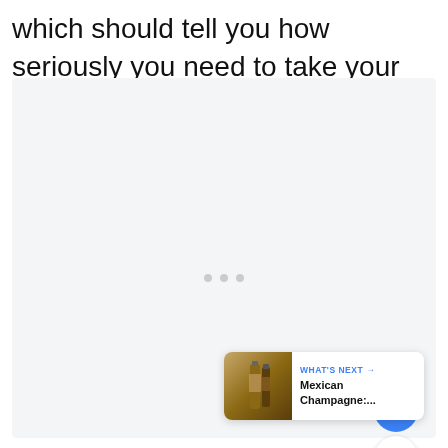which should tell you how seriously you need to take your gin.
[Figure (photo): Large light gray placeholder image area with three small dots in the center, social UI buttons on the right (heart/like button in blue, count showing 1, share button), and a 'What's Next' card in the bottom right showing a thumbnail of liquor bottles with text 'WHAT'S NEXT → Mexican Champagne:...']